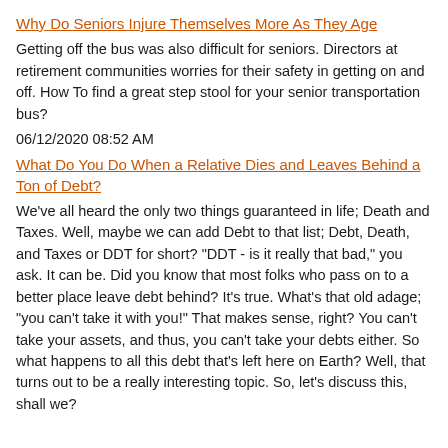Why Do Seniors Injure Themselves More As They Age
Getting off the bus was also difficult for seniors. Directors at retirement communities worries for their safety in getting on and off. How To find a great step stool for your senior transportation bus?
06/12/2020 08:52 AM
What Do You Do When a Relative Dies and Leaves Behind a Ton of Debt?
We've all heard the only two things guaranteed in life; Death and Taxes. Well, maybe we can add Debt to that list; Debt, Death, and Taxes or DDT for short? "DDT - is it really that bad," you ask. It can be. Did you know that most folks who pass on to a better place leave debt behind? It's true. What's that old adage; "you can't take it with you!" That makes sense, right? You can't take your assets, and thus, you can't take your debts either. So what happens to all this debt that's left here on Earth? Well, that turns out to be a really interesting topic. So, let's discuss this, shall we?